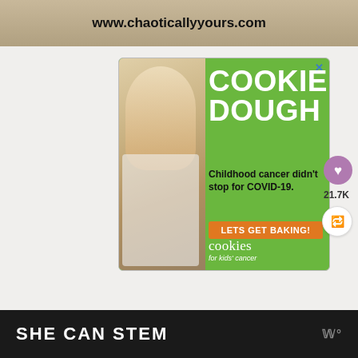[Figure (screenshot): Top strip showing website URL www.chaoticallyyours.com on a textured background]
[Figure (infographic): Green advertisement for Cookies for Kids' Cancer featuring a smiling girl holding a jar of money. Text: COOKIE DOUGH, Childhood cancer didn't stop for COVID-19., LETS GET BAKING!, cookies for kids' cancer. Orange button with LETS GET BAKING!. X close button in top right.]
21.7K
[Figure (screenshot): Bottom dark banner reading SHE CAN STEM in white bold text with a W logo on the right]